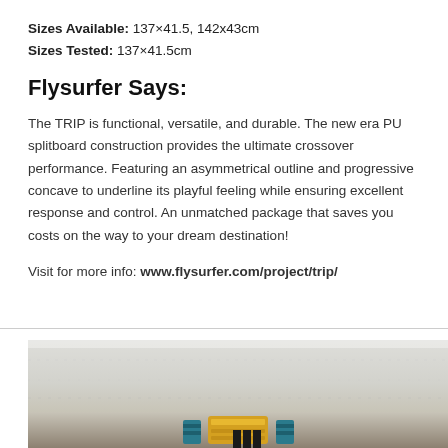Sizes Available: 137×41.5, 142x43cm
Sizes Tested: 137×41.5cm
Flysurfer Says:
The TRIP is functional, versatile, and durable. The new era PU splitboard construction provides the ultimate crossover performance. Featuring an asymmetrical outline and progressive concave to underline its playful feeling while ensuring excellent response and control. An unmatched package that saves you costs on the way to your dream destination!
Visit for more info: www.flysurfer.com/project/trip/
[Figure (photo): Close-up photo of a splitboard showing the board surface texture and colorful binding/strap elements at the bottom]